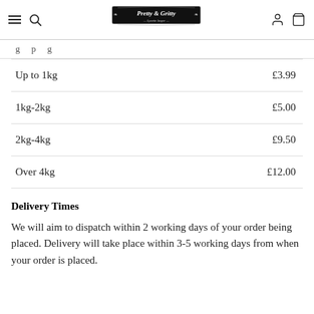Pretty and Gritty – Lynette Jasper
| Weight | Price |
| --- | --- |
| Up to 1kg | £3.99 |
| 1kg-2kg | £5.00 |
| 2kg-4kg | £9.50 |
| Over 4kg | £12.00 |
Delivery Times
We will aim to dispatch within 2 working days of your order being placed. Delivery will take place within 3-5 working days from when your order is placed.